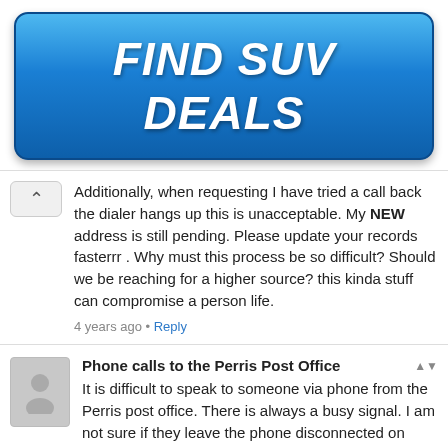[Figure (other): Blue gradient button advertisement reading FIND SUV DEALS]
Additionally, when requesting I have tried a call back the dialer hangs up this is unacceptable. My NEW address is still pending. Please update your records fasterrr . Why must this process be so difficult? Should we be reaching for a higher source? this kinda stuff can compromise a person life.
4 years ago • Reply
Phone calls to the Perris Post Office
It is difficult to speak to someone via phone from the Perris post office. There is always a busy signal. I am not sure if they leave the phone disconnected on purpose because it happens all the time. I am currently on the phone with the 800 number and the wait time is 50 minutes!!! 50 minutes!!!